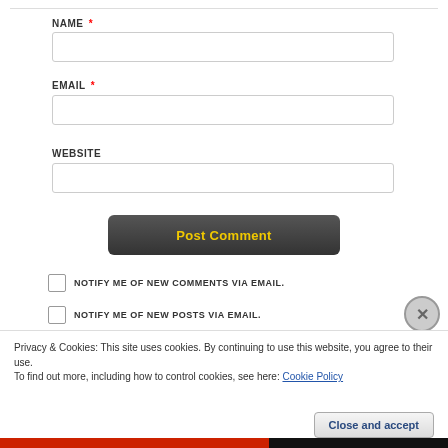NAME *
[Figure (screenshot): NAME input field (empty text box)]
EMAIL *
[Figure (screenshot): EMAIL input field (empty text box)]
WEBSITE
[Figure (screenshot): WEBSITE input field (empty text box)]
[Figure (screenshot): Post Comment button with yellow text on dark background]
NOTIFY ME OF NEW COMMENTS VIA EMAIL.
NOTIFY ME OF NEW POSTS VIA EMAIL.
Privacy & Cookies: This site uses cookies. By continuing to use this website, you agree to their use.
To find out more, including how to control cookies, see here: Cookie Policy
Close and accept